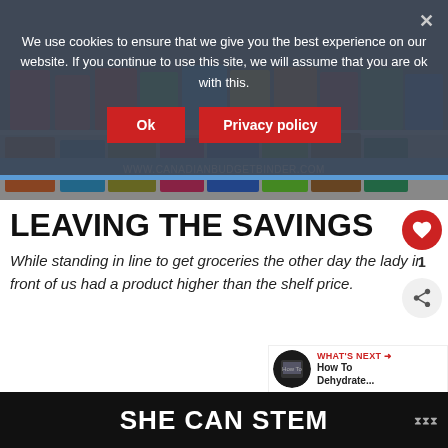[Figure (photo): Grocery store shelf with packaged food products visible behind cookie consent overlay]
We use cookies to ensure that we give you the best experience on our website. If you continue to use this site, we will assume that you are ok with this.
LEAVING THE SAVINGS
While standing in line to get groceries the other day the lady in front of us had a product higher than the shelf price.
WHAT'S NEXT → How To Dehydrate...
SHE CAN STEM